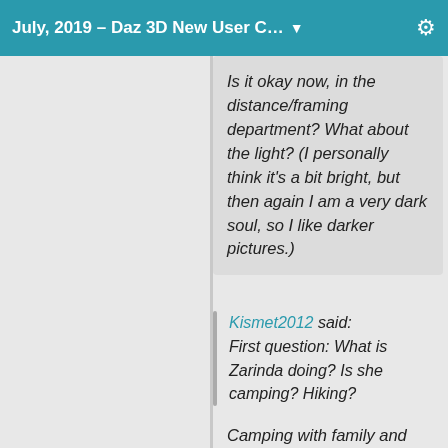July, 2019 – Daz 3D New User C… ▼
Is it okay now, in the distance/framing department? What about the light? (I personally think it's a bit bright, but then again I am a very dark soul, so I like darker pictures.)
Kismet2012 said:
First question:  What is Zarinda doing?  Is she camping?  Hiking?
Camping with family and